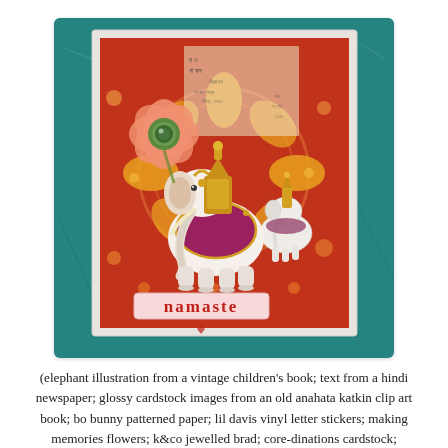[Figure (photo): A handmade craft card featuring an illustrated decorated elephant with golden ornaments, a large coral/orange flower with a green gem centre, Bengali/Hindi newspaper text background on red patterned paper, a second smaller white elephant, and a pink label at the bottom reading 'namaste' in red serif letters. The card is displayed on a teal/green distressed background.]
(elephant illustration from a vintage children's book; text from a hindi newspaper; glossy cardstock images from an old anahata katkin clip art book; bo bunny patterned paper; lil davis vinyl letter stickers; making memories flowers; k&co jewelled brad; core-dinations cardstock; adhesives: uhu gluestick, tombow monorunner, 3m foam tape)